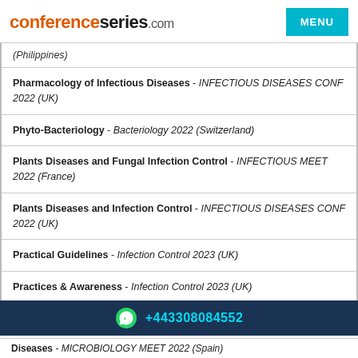conferenceseries.com  MENU
(Philippines)
Pharmacology of Infectious Diseases - INFECTIOUS DISEASES CONF 2022 (UK)
Phyto-Bacteriology - Bacteriology 2022 (Switzerland)
Plants Diseases and Fungal Infection Control - INFECTIOUS MEET 2022 (France)
Plants Diseases and Infection Control - INFECTIOUS DISEASES CONF 2022 (UK)
Practical Guidelines - Infection Control 2023 (UK)
Practices & Awareness - Infection Control 2023 (UK)
+44330 8084552
Diseases - MICROBIOLOGY MEET 2022 (Spain)